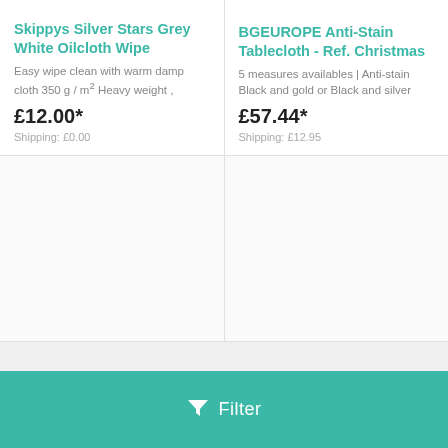Skippys Silver Stars Grey White Oilcloth Wipe
Easy wipe clean with warm damp cloth 350 g / m² Heavy weight ,
£12.00*
Shipping: £0.00
BGEUROPE Anti-Stain Tablecloth - Ref. Christmas
5 measures availables | Anti-stain Black and gold or Black and silver
£57.44*
Shipping: £12.95
Filter